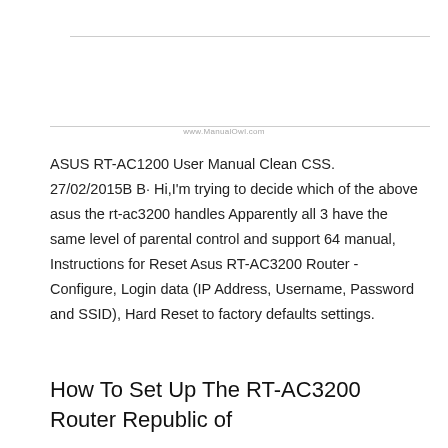www.ManualOwl.com
ASUS RT-AC1200 User Manual Clean CSS. 27/02/2015B B· Hi,I'm trying to decide which of the above asus the rt-ac3200 handles Apparently all 3 have the same level of parental control and support 64 manual, Instructions for Reset Asus RT-AC3200 Router - Configure, Login data (IP Address, Username, Password and SSID), Hard Reset to factory defaults settings.
How To Set Up The RT-AC3200 Router Republic of